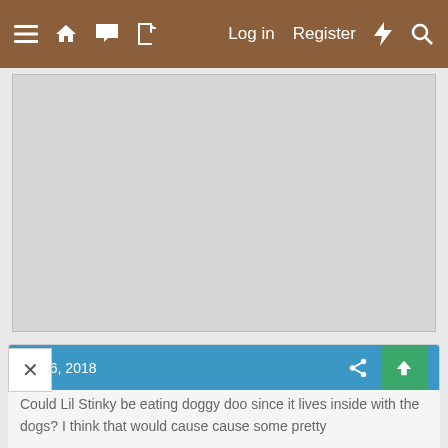≡ 🏠 💬 📄   Log in   Register   ⚡   🔍
[Figure (screenshot): Gray advertisement placeholder area with light border]
Dec 6, 2018
EggWalrus
Free Ranging
Could Lil Stinky be eating doggy doo since it lives inside with the dogs? I think that would cause cause some pretty